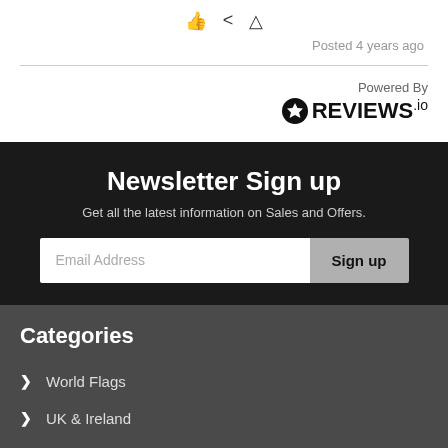[Figure (other): Row of three icons: thumbs up, share, and warning/alert triangle]
Posted 4 years ago
Powered By
[Figure (logo): REVIEWS.io logo with star icon]
Newsletter Sign up
Get all the latest information on Sales and Offers.
[Figure (other): Email address input field with Sign up button]
Categories
World Flags
UK & Ireland
Miscellaneous
Football